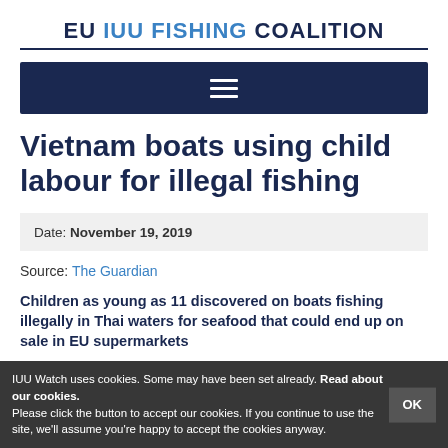EU IUU FISHING COALITION
[Figure (other): Dark navy blue navigation bar with hamburger menu icon (three horizontal white lines)]
Vietnam boats using child labour for illegal fishing
Date: November 19, 2019
Source: The Guardian
Children as young as 11 discovered on boats fishing illegally in Thai waters for seafood that could end up on sale in EU supermarkets
IUU Watch uses cookies. Some may have been set already. Read about our cookies. Please click the button to accept our cookies. If you continue to use the site, we'll assume you're happy to accept the cookies anyway.